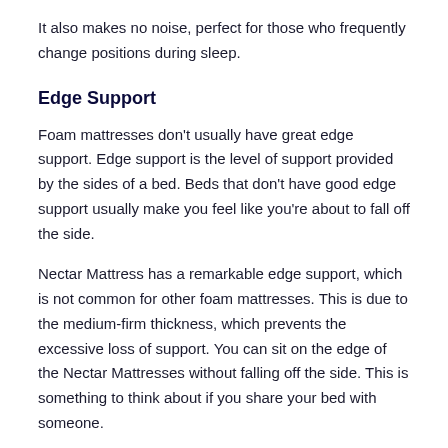It also makes no noise, perfect for those who frequently change positions during sleep.
Edge Support
Foam mattresses don't usually have great edge support. Edge support is the level of support provided by the sides of a bed. Beds that don't have good edge support usually make you feel like you're about to fall off the side.
Nectar Mattress has a remarkable edge support, which is not common for other foam mattresses. This is due to the medium-firm thickness, which prevents the excessive loss of support. You can sit on the edge of the Nectar Mattresses without falling off the side. This is something to think about if you share your bed with someone.
Pressure relief